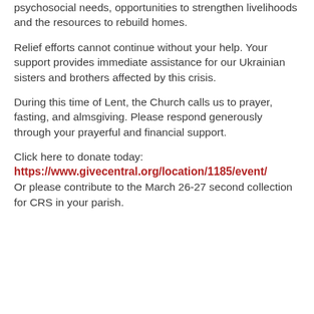psychosocial needs, opportunities to strengthen livelihoods and the resources to rebuild homes.
Relief efforts cannot continue without your help. Your support provides immediate assistance for our Ukrainian sisters and brothers affected by this crisis.
During this time of Lent, the Church calls us to prayer, fasting, and almsgiving. Please respond generously through your prayerful and financial support.
Click here to donate today:
https://www.givecentral.org/location/1185/event/
Or please contribute to the March 26-27 second collection for CRS in your parish.